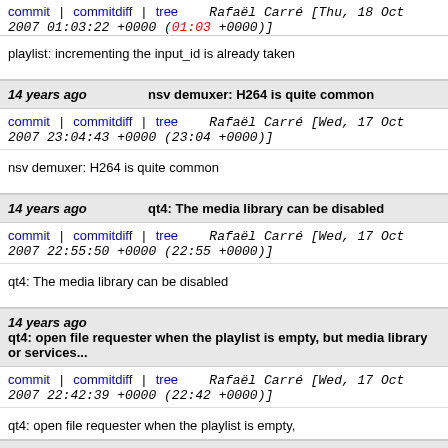commit | commitdiff | tree    Rafaël Carré [Thu, 18 Oct 2007 01:03:22 +0000 (01:03 +0000)]
playlist: incrementing the input_id is already taken
14 years ago    nsv demuxer: H264 is quite common
commit | commitdiff | tree    Rafaël Carré [Wed, 17 Oct 2007 23:04:43 +0000 (23:04 +0000)]
nsv demuxer: H264 is quite common
14 years ago    qt4: The media library can be disabled
commit | commitdiff | tree    Rafaël Carré [Wed, 17 Oct 2007 22:55:50 +0000 (22:55 +0000)]
qt4: The media library can be disabled
14 years ago    qt4: open file requester when the playlist is empty, but media library or services...
commit | commitdiff | tree    Rafaël Carré [Wed, 17 Oct 2007 22:42:39 +0000 (22:42 +0000)]
qt4: open file requester when the playlist is empty,
14 years ago    svn:keywords=Id